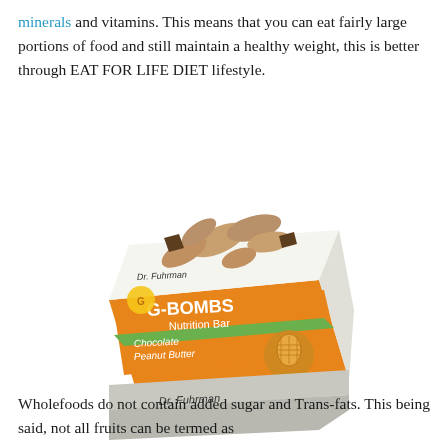minerals and vitamins. This means that you can eat fairly large portions of food and still maintain a healthy weight, this is better through EAT FOR LIFE DIET lifestyle.
[Figure (photo): Product box of Dr. Fuhrman G-BOMBS Nutrition Bar, Chocolate Peanut Butter flavor, with peanuts and chocolate pieces on top of the box packaging.]
Wholefoods do not contain added sugar and Trans-fats. This being said, not all fruits can be termed as